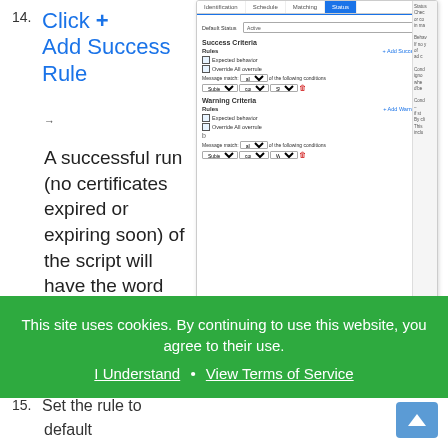14. Click + Add Success Rule
[Figure (screenshot): Screenshot showing a status configuration panel with tabs (Identification, Schedule, Matching, Status), Default Status field, Success Criteria section with Rules and + Add Success Rule button, checkboxes for Expected behavior and Override All overrule, message match conditions with Subject/Contains/SUCCESS dropdowns, Warning Criteria section with similar layout.]
A successful run (no certificates expired or expiring soon) of the script will have the word "SUCCESS" in the email Subject.
15. Set the rule to default
This site uses cookies. By continuing to use this website, you agree to their use. I Understand · View Terms of Service